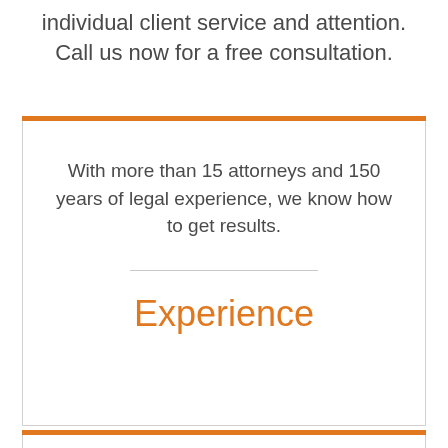individual client service and attention. Call us now for a free consultation.
With more than 15 attorneys and 150 years of legal experience, we know how to get results.
Experience